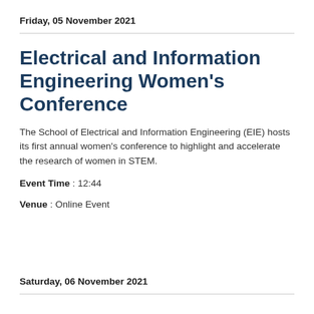Friday, 05 November 2021
Electrical and Information Engineering Women's Conference
The School of Electrical and Information Engineering (EIE) hosts its first annual women's conference to highlight and accelerate the research of women in STEM.
Event Time : 12:44
Venue : Online Event
Saturday, 06 November 2021